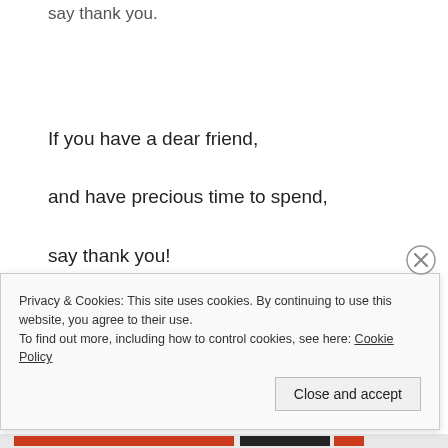say thank you.
If you have a dear friend,
and have precious time to spend,
say thank you!
If you can begin each day,
Privacy & Cookies: This site uses cookies. By continuing to use this website, you agree to their use.
To find out more, including how to control cookies, see here: Cookie Policy
Close and accept